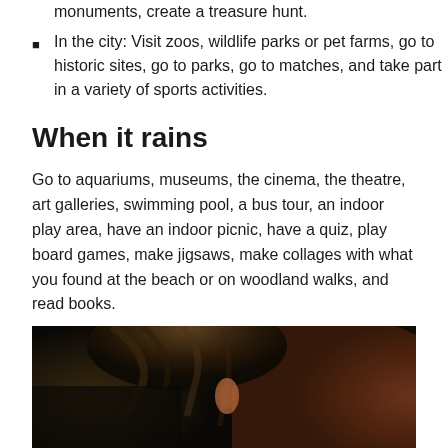monuments, create a treasure hunt.
In the city: Visit zoos, wildlife parks or pet farms, go to historic sites, go to parks, go to matches, and take part in a variety of sports activities.
When it rains
Go to aquariums, museums, the cinema, the theatre, art galleries, swimming pool, a bus tour, an indoor play area, have an indoor picnic, have a quiz, play board games, make jigsaws, make collages with what you found at the beach or on woodland walks, and read books.
[Figure (photo): Close-up photo of a child reading a book, showing the top of their head and hair in dark tones]